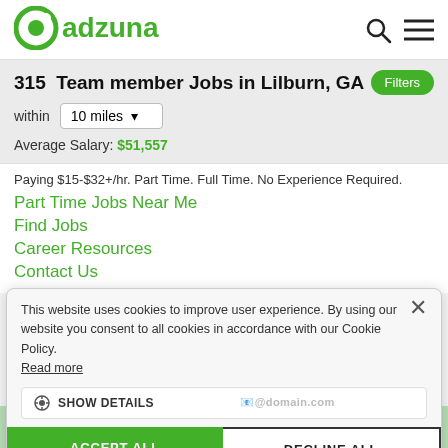[Figure (logo): Adzuna green logo with circular icon and wordmark]
315  Team member Jobs in Lilburn, GA
within  10 miles
Average Salary: $51,557
Paying $15-$32+/hr. Part Time. Full Time. No Experience Required.
Part Time Jobs Near Me
Find Jobs
Career Resources
Contact Us
This website uses cookies to improve user experience. By using our website you consent to all cookies in accordance with our Cookie Policy. Read more
SHOW DETAILS
ACCEPT ALL
DECLINE ALL
Get the latest jobs: